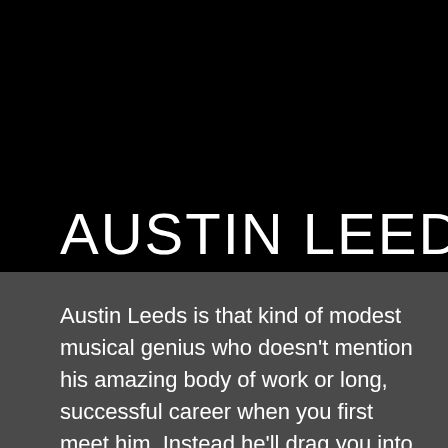AUSTIN LEEDS
Austin Leeds is that kind of modest musical genius who doesn't mention his amazing body of work or long, successful career when you first meet him. Instead he'll drag you into his studio to get your opinion on his next track, always striving to innovate